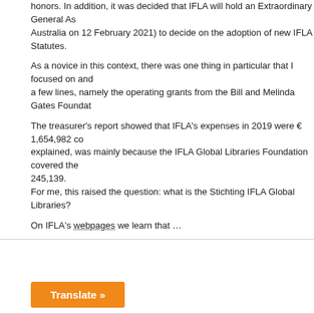honors. In addition, it was decided that IFLA will hold an Extraordinary General Assembly in Australia on 12 February 2021) to decide on the adoption of new IFLA Statutes.
As a novice in this context, there was one thing in particular that I focused on and that was a few lines, namely the operating grants from the Bill and Melinda Gates Foundat…
The treasurer's report showed that IFLA's expenses in 2019 were € 1,654,982 co… explained, was mainly because the IFLA Global Libraries Foundation covered the… 245,139.
For me, this raised the question: what is the Stichting IFLA Global Libraries?
On IFLA's webpages we learn that …
… «the object of the foundation [Stichting, in Dutch], which is exclusively charitab… empower public libraries to improve people's lives and support growth of sustaina… income from the foundation's own activities etc. The foundation's board has a cha… secretary.
The composition of the board and the descriptions of the board members» backg… and Melinda Gates Foundation (BMGF) and the IFLA Global Libraries Foundatio… been founded in order to be able to conveniently channel money and influence fro…
[Figure (other): White box area with Translate button at bottom left]